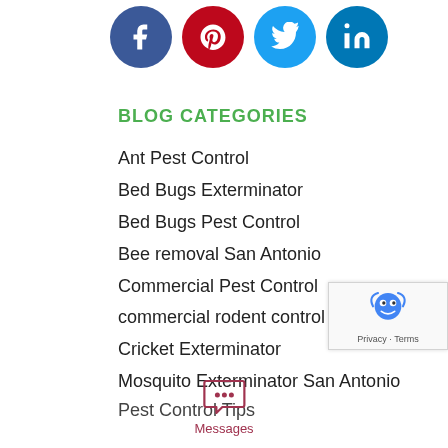[Figure (other): Social media share icons: Facebook (dark blue circle with f), Pinterest (red circle with P), Twitter (light blue circle with bird), LinkedIn (teal circle with in)]
BLOG CATEGORIES
Ant Pest Control
Bed Bugs Exterminator
Bed Bugs Pest Control
Bee removal San Antonio
Commercial Pest Control
commercial rodent control
Cricket Exterminator
Mosquito Exterminator San Antonio
Pest Control Tips
[Figure (other): reCAPTCHA badge with robot/recaptcha icon, Privacy and Terms links]
[Figure (other): Messages chat widget icon with speech bubble and three dots, labeled Messages in dark red/maroon]